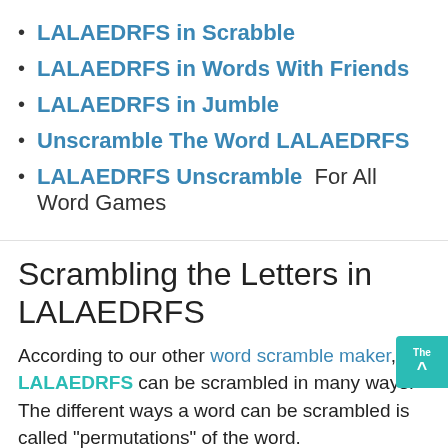LALAEDRFS in Scrabble
LALAEDRFS in Words With Friends
LALAEDRFS in Jumble
Unscramble The Word LALAEDRFS
LALAEDRFS Unscramble  For All Word Games
Scrambling the Letters in LALAEDRFS
According to our other word scramble maker, LALAEDRFS can be scrambled in many ways. The different ways a word can be scrambled is called "permutations" of the word.
According to Google, this is the definition of